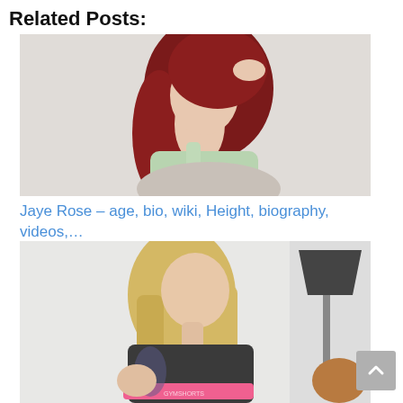Related Posts:
[Figure (photo): Young woman with long red hair wearing a light green tank top, posing looking over her shoulder against a light background.]
Jaye Rose – age, bio, wiki, Height, biography, videos,…
[Figure (photo): Blonde woman with tattoos wearing a dark sports bra and pink-trimmed workout shorts, bending forward in a room with a lamp and white walls.]
KiaraBlay – age, bio, wiki, Height,